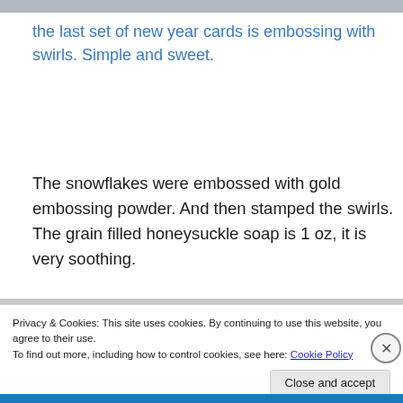[Figure (photo): Top image strip, partially visible image]
the last set of new year cards is embossing with swirls. Simple and sweet.
The snowflakes were embossed with gold embossing powder. And then stamped the swirls. The grain filled honeysuckle soap is 1 oz, it is very soothing.
[Figure (screenshot): Partial image strip visible behind cookie banner]
Privacy & Cookies: This site uses cookies. By continuing to use this website, you agree to their use.
To find out more, including how to control cookies, see here: Cookie Policy
Close and accept